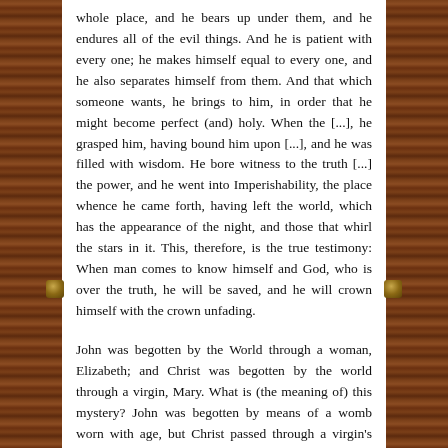whole place, and he bears up under them, and he endures all of the evil things. And he is patient with every one; he makes himself equal to every one, and he also separates himself from them. And that which someone wants, he brings to him, in order that he might become perfect (and) holy. When the [...], he grasped him, having bound him upon [...], and he was filled with wisdom. He bore witness to the truth [...] the power, and he went into Imperishability, the place whence he came forth, having left the world, which has the appearance of the night, and those that whirl the stars in it. This, therefore, is the true testimony: When man comes to know himself and God, who is over the truth, he will be saved, and he will crown himself with the crown unfading.
John was begotten by the World through a woman, Elizabeth; and Christ was begotten by the world through a virgin, Mary. What is (the meaning of) this mystery? John was begotten by means of a womb worn with age, but Christ passed through a virgin's womb. When she had conceived, she gave birth to the Savior. Furthermore, she was found to be a virgin again. Why, then do you (pl.) err and not seek after these mysteries, which were prefigured for our sake?